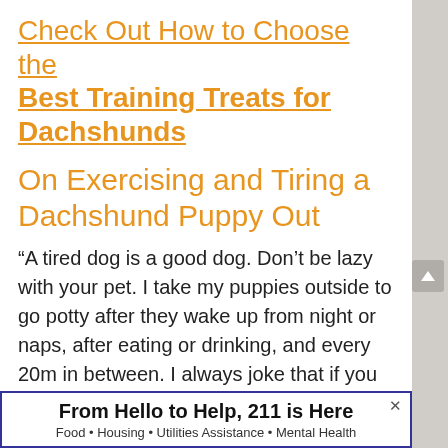Check Out How to Choose the Best Training Treats for Dachshunds
On Exercising and Tiring a Dachshund Puppy Out
“A tired dog is a good dog. Don’t be lazy with your pet. I take my puppies outside to go potty after they wake up from night or naps, after eating or drinking, and every 20m in between. I always joke that if you potty train
From Hello to Help, 211 is Here
Food • Housing • Utilities Assistance • Mental Health